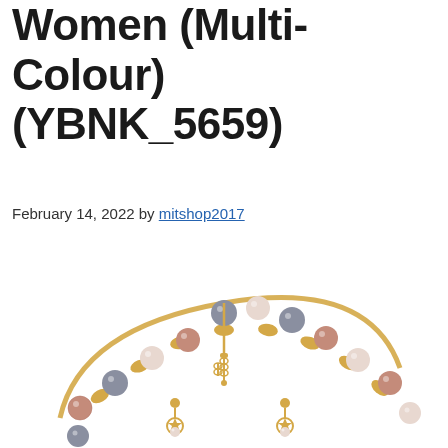Jewellery Set for Women (Multi-Colour) (YBNK_5659)
February 14, 2022 by mitshop2017
[Figure (photo): A multicolour pearl and gold-tone jewellery set for women, showing a bracelet/necklace arc with pink, grey, and white pearls along a gold chain, with dangling earrings featuring star/flower shaped gold pendants and small pearls.]